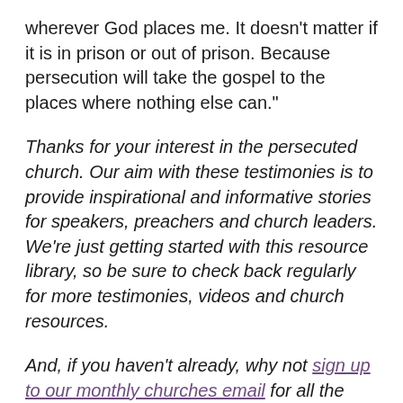wherever God places me. It doesn't matter if it is in prison or out of prison. Because persecution will take the gospel to the places where nothing else can."
Thanks for your interest in the persecuted church. Our aim with these testimonies is to provide inspirational and informative stories for speakers, preachers and church leaders. We're just getting started with this resource library, so be sure to check back regularly for more testimonies, videos and church resources.
And, if you haven't already, why not sign up to our monthly churches email for all the latest